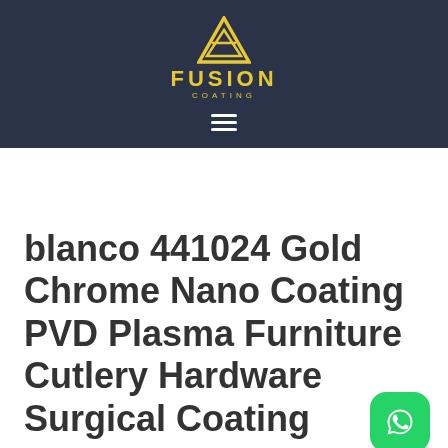[Figure (logo): Fusion Coating logo: yellow triangle/shield icon above text FUSION COATING in yellow, on dark navy background, with hamburger menu icon in white below]
blanco 441024 Gold Chrome Nano Coating PVD Plasma Furniture Cutlery Hardware Surgical Coating